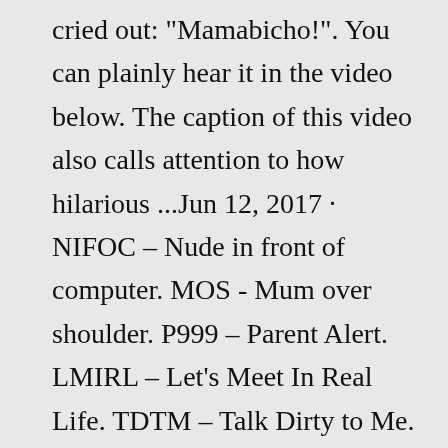cried out: "Mamabicho!". You can plainly hear it in the video below. The caption of this video also calls attention to how hilarious ...Jun 12, 2017 · NIFOC – Nude in front of computer. MOS - Mum over shoulder. P999 – Parent Alert. LMIRL – Let's Meet In Real Life. TDTM – Talk Dirty to Me. GYPO - Get Your Pants Off. Scroll down for the ... Urban Outfitters also carries everything you need to decorate your small space, apartment or dorm, with a UO Home